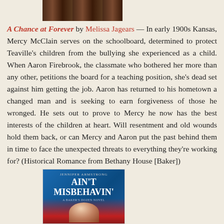[Figure (photo): Partial photo of a person, cropped at top of page]
A Chance at Forever by Melissa Jagears — In early 1900s Kansas, Mercy McClain serves on the schoolboard, determined to protect Teaville's children from the bullying she experienced as a child. When Aaron Firebrook, the classmate who bothered her more than any other, petitions the board for a teaching position, she's dead set against him getting the job. Aaron has returned to his hometown a changed man and is seeking to earn forgiveness of those he wronged. He sets out to prove to Mercy he now has the best interests of the children at heart. Will resentment and old wounds hold them back, or can Mercy and Aaron put the past behind them in time to face the unexpected threats to everything they're working for? (Historical Romance from Bethany House [Baker])
[Figure (photo): Book cover of 'Ain't Misbehavin'' showing a stylized illustration of a woman in a red garment against a blue background]